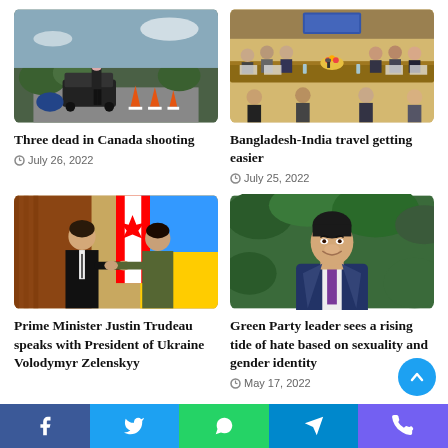[Figure (photo): Police officers and emergency vehicles at a Canada shooting scene with orange traffic cones]
Three dead in Canada shooting
July 26, 2022
[Figure (photo): Bangladesh-India meeting with officials seated around a long conference table]
Bangladesh-India travel getting easier
July 25, 2022
[Figure (photo): Prime Minister Justin Trudeau shaking hands with President of Ukraine Volodymyr Zelenskyy with Canadian and Ukrainian flags in background]
Prime Minister Justin Trudeau speaks with President of Ukraine Volodymyr Zelenskyy
[Figure (photo): Green Party leader smiling outdoors in a suit with purple tie]
Green Party leader sees a rising tide of hate based on sexuality and gender identity
May 17, 2022